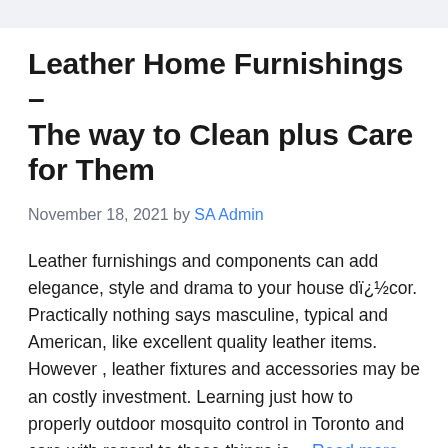Leather Home Furnishings – The way to Clean plus Care for Them
November 18, 2021 by SA Admin
Leather furnishings and components can add elegance, style and drama to your house dï¿½cor. Practically nothing says masculine, typical and American, like excellent quality leather items. However , leather fixtures and accessories may be an costly investment. Learning just how to properly outdoor mosquito control in Toronto and care with regard to these things is… Read more